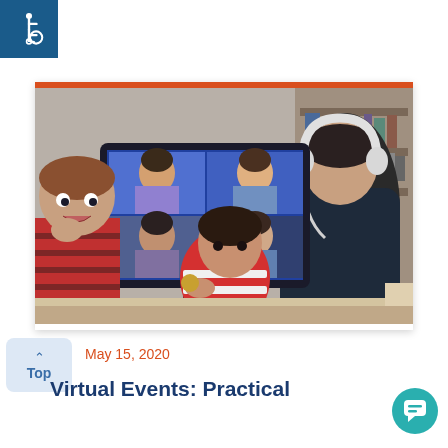[Figure (logo): Accessibility wheelchair icon badge, white icon on dark blue square background, top-left corner]
[Figure (photo): A parent wearing white headphones sits at a desktop computer showing a video conference with multiple participants. A toddler in a red and white striped outfit sits on the parent's lap eating a snack. A young boy in a red striped shirt stands to the left looking at the screen. Home office setting with shelves in background. Orange bar at top of card.]
May 15, 2020
Virtual Events: Practical